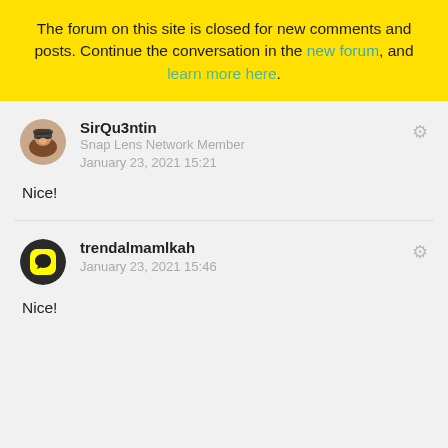The forum on this site is closed for new comments and posts. Continue the conversation in the new forum, and learn more here.
SirQu3ntin
Snap Lens Network Member
January 23, 2021 15:21

Nice!
trendalmamlkah
January 23, 2021 15:46

Nice!